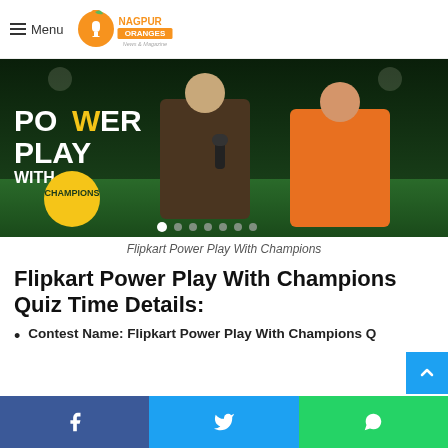Menu — Nagpur Oranges News & Magazine
[Figure (photo): Flipkart Power Play With Champions promotional banner showing two people (one in brown suit holding a microphone, one in orange suit) with text 'POWER PLAY WITH CHAMPIONS' on a cricket stadium background. Carousel dots at the bottom.]
Flipkart Power Play With Champions
Flipkart Power Play With Champions Quiz Time Details:
Contest Name: Flipkart Power Play With Champions Q…
[Figure (infographic): Social share bar at the bottom with Facebook (blue), Twitter (light blue), and WhatsApp (green) icons]